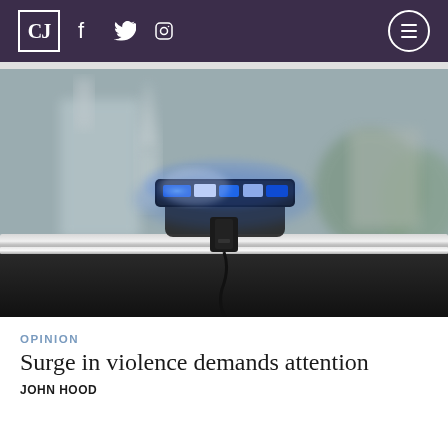CJ
[Figure (photo): Close-up photo of a police car roof with blue emergency light bar glowing, blurred background with buildings and trees]
OPINION
Surge in violence demands attention
JOHN HOOD